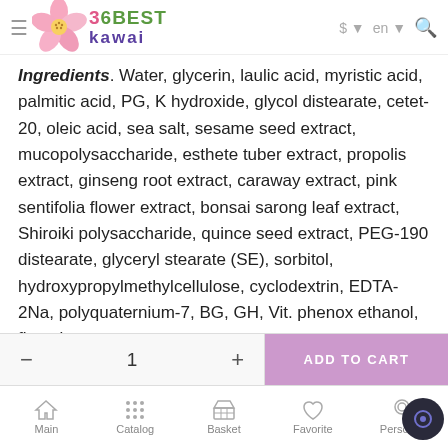36BEST kawai — navigation header with logo, currency selector ($), language selector (en), search icon
Ingredients: Water, glycerin, laulic acid, myristic acid, palmitic acid, PG, K hydroxide, glycol distearate, cetet-20, oleic acid, sea salt, sesame seed extract, mucopolysaccharide, esthete tuber extract, propolis extract, ginseng root extract, caraway extract, pink sentifolia flower extract, bonsai sarong leaf extract, Shiroiki polysaccharide, quince seed extract, PEG-190 distearate, glyceryl stearate (SE), sorbitol, hydroxypropylmethylcellulose, cyclodextrin, EDTA-2Na, polyquaternium-7, BG, GH, Vit. phenox ethanol, flavoring.
— 1 + ADD TO CART | Main | Catalog | Basket | Favorite | Personal